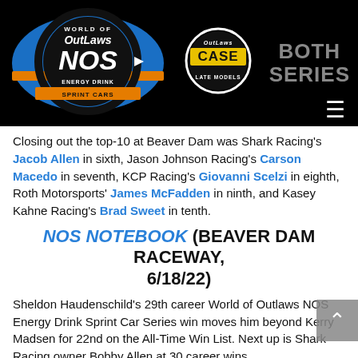[Figure (logo): World of Outlaws NOS Energy Drink Sprint Cars logo (blue/orange/black circular logo)]
[Figure (logo): World of Outlaws CASE Construction Equipment Late Models logo (circular black/white logo)]
[Figure (other): BOTH SERIES navigation text in gray]
Closing out the top-10 at Beaver Dam was Shark Racing's Jacob Allen in sixth, Jason Johnson Racing's Carson Macedo in seventh, KCP Racing's Giovanni Scelzi in eighth, Roth Motorsports' James McFadden in ninth, and Kasey Kahne Racing's Brad Sweet in tenth.
NOS NOTEBOOK (BEAVER DAM RACEWAY, 6/18/22)
Sheldon Haudenschild's 29th career World of Outlaws NOS Energy Drink Sprint Car Series win moves him beyond Kerry Madsen for 22nd on the All-Time Win List. Next up is Shark Racing owner Bobby Allen at 30 career wins.